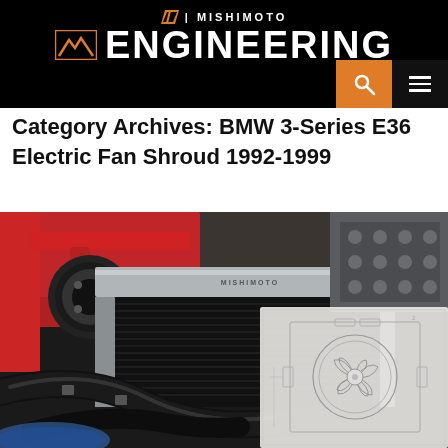MISHIMOTO | ENGINEERING
Category Archives: BMW 3-Series E36 Electric Fan Shroud 1992-1999
[Figure (photo): BMW E36 engine bay showing a Mishimoto radiator with red engine components and black hoses, overlaid with a technical fan shroud engineering drawing sketch on the right side]